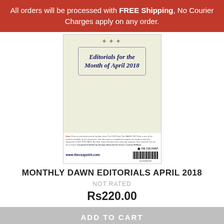All orders will be processed with FREE Shipping, No Courier Charges apply on any order.
[Figure (photo): Book cover: Editorials for the Month of April 2018, The CSS Point, www.thecsspoint.com, with barcode]
MONTHLY DAWN EDITORIALS APRIL 2018
NOT RATED
Rs220.00
ADD TO CART
[Figure (photo): Partial book cover showing DAWN text, bottom of page]
Need Help?